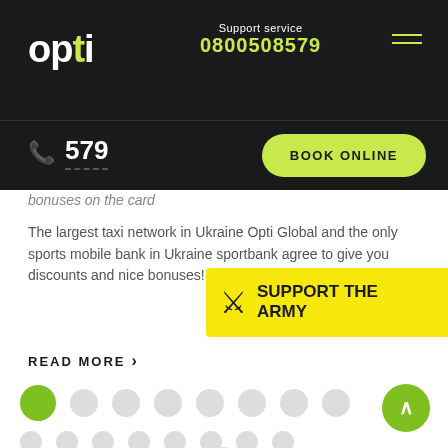opti — Support service 0800508579
579
BOOK ONLINE
bonuses on the card
The largest taxi network in Ukraine Opti Global and the only sports mobile bank in Ukraine sportbank agree to give you discounts and nice bonuses! How to get them?
[Figure (infographic): Yellow banner with Ukrainian trident and text SUPPORT THE ARMY]
READ MORE ›
[Figure (infographic): Grid of grey circles with one large green circle (active/selected indicator). Two rows of dots plus one centered dot below.]
[Figure (infographic): Green circular scroll-to-top button with upward chevron]